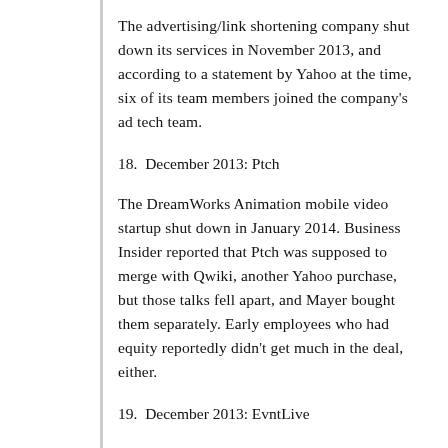The advertising/link shortening company shut down its services in November 2013, and according to a statement by Yahoo at the time, six of its team members joined the company's ad tech team.
18.  December 2013: Ptch
The DreamWorks Animation mobile video startup shut down in January 2014. Business Insider reported that Ptch was supposed to merge with Qwiki, another Yahoo purchase, but those talks fell apart, and Mayer bought them separately. Early employees who had equity reportedly didn't get much in the deal, either.
19.  December 2013: EvntLive
[Figure (other): CarMax advertisement banner: 'Buy Your Used Car Your Way' with CarMax logo and blue navigation arrow icon. Includes 'Report an ad' link.]